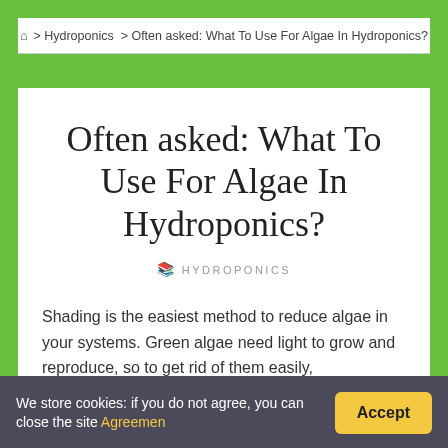🏠 > Hydroponics > Often asked: What To Use For Algae In Hydroponics?
Often asked: What To Use For Algae In Hydroponics?
HYDROPONICS
Shading is the easiest method to reduce algae in your systems. Green algae need light to grow and reproduce, so to get rid of them easily,
We store cookies: if you do not agree, you can close the site Agreemen